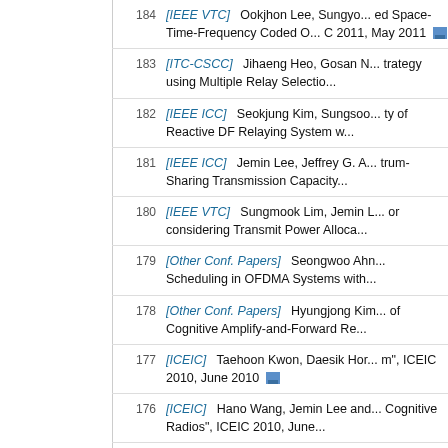184 [IEEE VTC] ... ed Space-Time-Frequency Coded O... C 2011, May 2011
183 [ITC-CSCC] Jihaeng Heo, Gosan N... trategy using Multiple Relay Selectio...
182 [IEEE ICC] Seokjung Kim, Sungsoo... ty of Reactive DF Relaying System w...
181 [IEEE ICC] Jemin Lee, Jeffrey G. A... trum-Sharing Transmission Capacity...
180 [IEEE VTC] Sungmook Lim, Jemin L... or considering Transmit Power Alloca...
179 [Other Conf. Papers] Seongwoo Ahn... Scheduling in OFDMA Systems with...
178 [Other Conf. Papers] Hyungjong Kim... of Cognitive Amplify-and-Forward Re...
177 [ICEIC] Taehoon Kwon, Daesik Hor... m", ICEIC 2010, June 2010
176 [ICEIC] Hano Wang, Jemin Lee and... Cognitive Radios", ICEIC 2010, June...
175 [IEEE PIMRC] Heekwang Lee, Dong... Jaeho Jeon and Daesik Hong, "User... roadcast Systems", PIMRC 2010, Se...